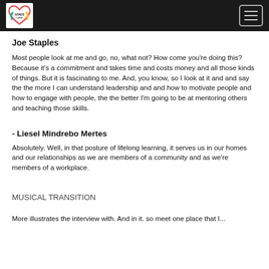Hands Care logo and navigation menu
Joe Staples
Most people look at me and go, no, what not? How come you're doing this? Because it's a commitment and takes time and costs money and all those kinds of things. But it is fascinating to me. And, you know, so I look at it and and say the the more I can understand leadership and and how to motivate people and how to engage with people, the the better I'm going to be at mentoring others and teaching those skills.
- Liesel Mindrebo Mertes
Absolutely. Well, in that posture of lifelong learning, it serves us in our homes and our relationships as we are members of a community and as we're members of a workplace.
MUSICAL TRANSITION
More illustrates the interview with. And in it. so meet one place that I...